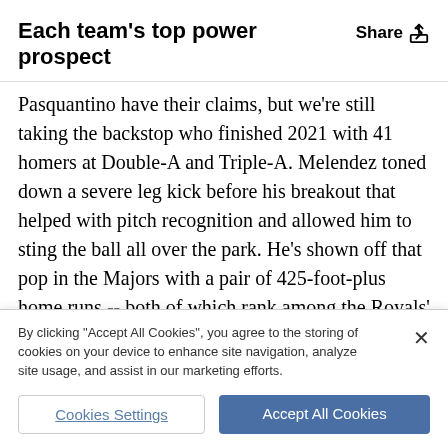Each team's top power prospect
Pasquantino have their claims, but we're still taking the backstop who finished 2021 with 41 homers at Double-A and Triple-A. Melendez toned down a severe leg kick before his breakout that helped with pitch recognition and allowed him to sting the ball all over the park. He's shown off that pop in the Majors with a pair of 425-foot-plus home runs -- both of which rank among the Royals' 10 longest dingers of
By clicking "Accept All Cookies", you agree to the storing of cookies on your device to enhance site navigation, analyze site usage, and assist in our marketing efforts.
Cookies Settings
Accept All Cookies